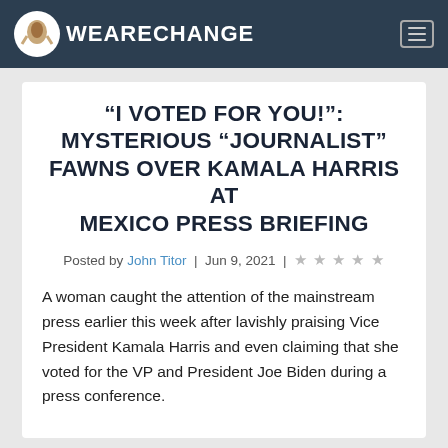WEARECHANGE
“I VOTED FOR YOU!”: MYSTERIOUS “JOURNALIST” FAWNS OVER KAMALA HARRIS AT MEXICO PRESS BRIEFING
Posted by John Titor | Jun 9, 2021 | ★★★★★
A woman caught the attention of the mainstream press earlier this week after lavishly praising Vice President Kamala Harris and even claiming that she voted for the VP and President Joe Biden during a press conference.